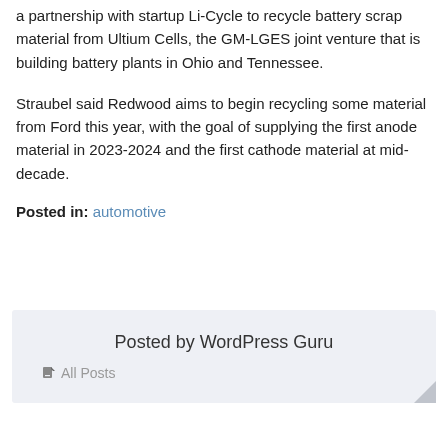a partnership with startup Li-Cycle to recycle battery scrap material from Ultium Cells, the GM-LGES joint venture that is building battery plants in Ohio and Tennessee.
Straubel said Redwood aims to begin recycling some material from Ford this year, with the goal of supplying the first anode material in 2023-2024 and the first cathode material at mid-decade.
Posted in: automotive
Posted by WordPress Guru
All Posts